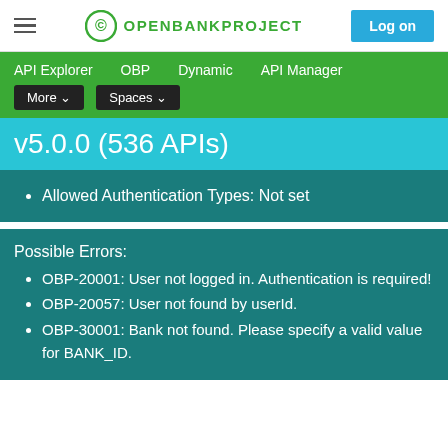OPENBANKPROJECT | Log on
API Explorer  OBP  Dynamic  API Manager  More  Spaces
v5.0.0 (536 APIs)
Allowed Authentication Types: Not set
Possible Errors:
OBP-20001: User not logged in. Authentication is required!
OBP-20057: User not found by userId.
OBP-30001: Bank not found. Please specify a valid value for BANK_ID.